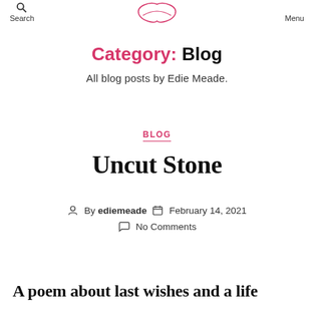Search   [logo]   Menu
Category: Blog
All blog posts by Edie Meade.
BLOG
Uncut Stone
By ediemeade   February 14, 2021   No Comments
A poem about last wishes and a life